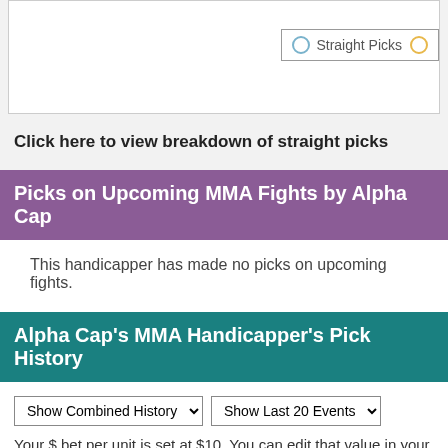[Figure (other): Chart area with legend showing Straight Picks and another series (partially visible)]
Click here to view breakdown of straight picks
Picks on Upcoming MMA Fights by Alpha Cap
This handicapper has made no picks on upcoming fights.
Alpha Cap's MMA Handicapper's Pick History
Show Combined History  Show Last 20 Events
Your $ bet per unit is set at $10. You can edit that value in your setti...
UFC Fight Night 114 Pettis vs. Moreno, Mexico C...